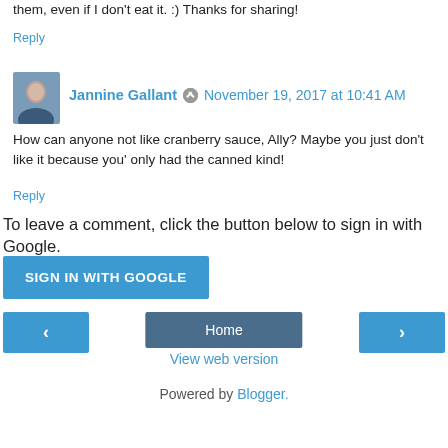them, even if I don't eat it. :) Thanks for sharing!
Reply
Jannine Gallant · November 19, 2017 at 10:41 AM
How can anyone not like cranberry sauce, Ally? Maybe you just don't like it because you' only had the canned kind!
Reply
To leave a comment, click the button below to sign in with Google.
SIGN IN WITH GOOGLE
Home
View web version
Powered by Blogger.